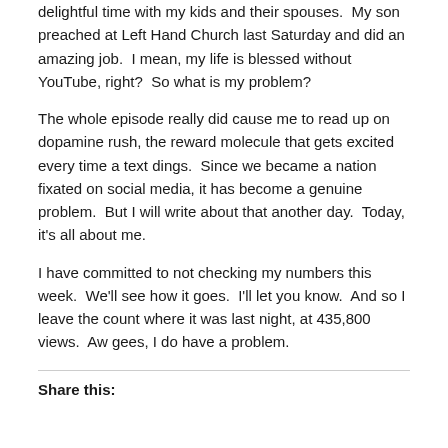delightful time with my kids and their spouses.  My son preached at Left Hand Church last Saturday and did an amazing job.  I mean, my life is blessed without YouTube, right?  So what is my problem?
The whole episode really did cause me to read up on dopamine rush, the reward molecule that gets excited every time a text dings.  Since we became a nation fixated on social media, it has become a genuine problem.  But I will write about that another day.  Today, it's all about me.
I have committed to not checking my numbers this week.  We'll see how it goes.  I'll let you know.  And so I leave the count where it was last night, at 435,800 views.  Aw gees, I do have a problem.
Share this: